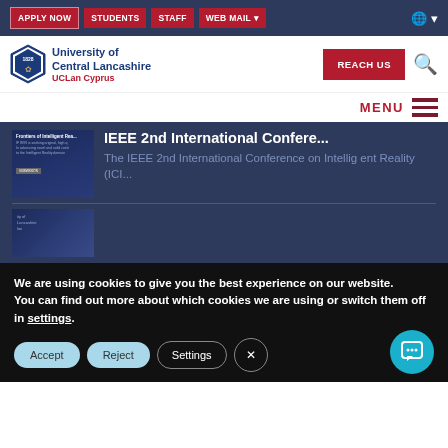APPLY NOW | STUDENTS | STAFF | WEB MAIL
[Figure (logo): University of Central Lancashire UCLan Cyprus logo with shield crest]
REACH US | MENU
[Figure (screenshot): Thumbnail image of IEEE Intelligent Reality conference page]
IEEE 2nd International Confere...
The IEEE 2nd International Conference on Intelligent Reality (ICI...
[Figure (screenshot): Thumbnail image of University of Central Lancashire document]
We are using cookies to give you the best experience on our website.
You can find out more about which cookies we are using or switch them off in settings.
Accept | Reject | Settings | X